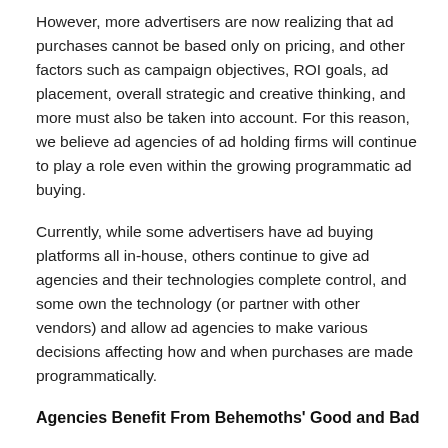However, more advertisers are now realizing that ad purchases cannot be based only on pricing, and other factors such as campaign objectives, ROI goals, ad placement, overall strategic and creative thinking, and more must also be taken into account. For this reason, we believe ad agencies of ad holding firms will continue to play a role even within the growing programmatic ad buying.
Currently, while some advertisers have ad buying platforms all in-house, others continue to give ad agencies and their technologies complete control, and some own the technology (or partner with other vendors) and allow ad agencies to make various decisions affecting how and when purchases are made programmatically.
Agencies Benefit From Behemoths' Good and Bad